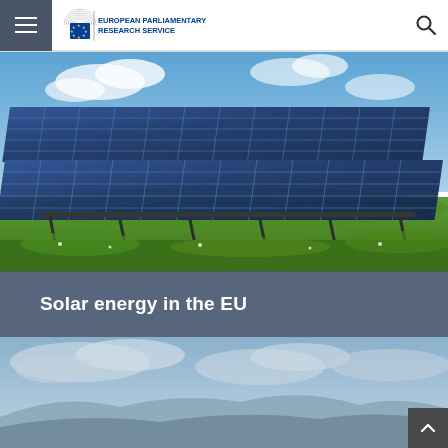European Parliamentary Research Service — navigation bar with hamburger menu, logo, and search icon
[Figure (photo): Solar panels in a green field under a blue sky with clouds]
Solar energy in the EU
[Figure (photo): Sky and landscape scene, partially visible]
[Figure (other): Scroll-to-top button in bottom-right corner]